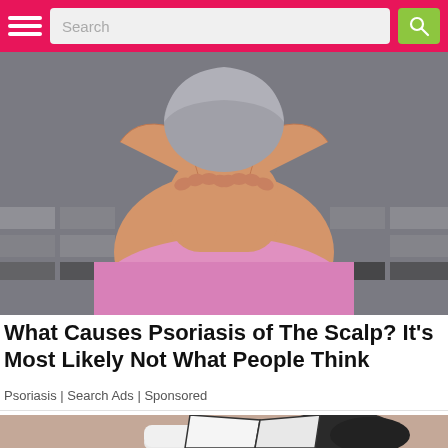Search
[Figure (photo): Person in pink top scratching their back/neck with both hands, viewed from behind, in front of tiled wall]
What Causes Psoriasis of The Scalp? It's Most Likely Not What People Think
Psoriasis | Search Ads | Sponsored
[Figure (illustration): Cartoon illustration showing a person lying down, partially visible at the bottom of the page]